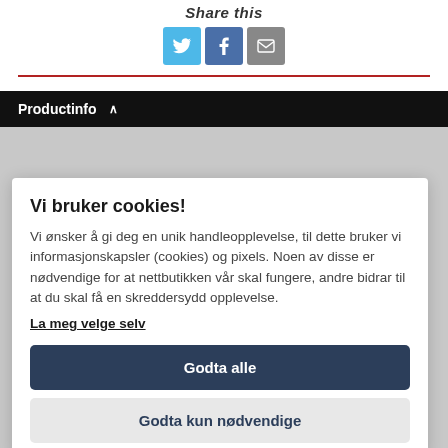Share this
[Figure (infographic): Three social sharing buttons: Twitter (blue bird), Facebook (blue f), and Email (grey envelope)]
Productinfo ^
Vi bruker cookies!
Vi ønsker å gi deg en unik handleopplevelse, til dette bruker vi informasjonskapsler (cookies) og pixels. Noen av disse er nødvendige for at nettbutikken vår skal fungere, andre bidrar til at du skal få en skreddersydd opplevelse.
La meg velge selv
Godta alle
Godta kun nødvendige